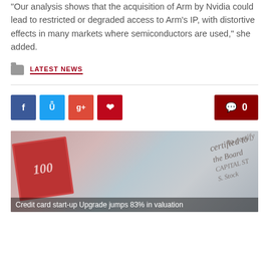"Our analysis shows that the acquisition of Arm by Nvidia could lead to restricted or degraded access to Arm's IP, with distortive effects in many markets where semiconductors are used," she added.
LATEST NEWS
[Figure (screenshot): Social media share buttons: Facebook (blue), Twitter (light blue), Google+ (red-orange), Pinterest (red), and a comment count button showing 0 on dark red background]
[Figure (photo): Photo of a red 100 stamp/bond certificate with cursive handwriting text partially visible. Caption reads: Credit card start-up Upgrade jumps 83% in valuation]
Credit card start-up Upgrade jumps 83% in valuation